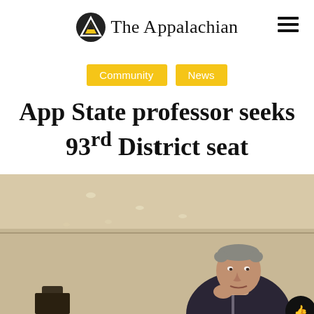The Appalachian
Community  News
App State professor seeks 93rd District seat
[Figure (photo): A man in a dark suit jacket, appearing to be speaking or presenting in a room with recessed ceiling lights and beige walls. He is gesturing with his hand near his chin.]